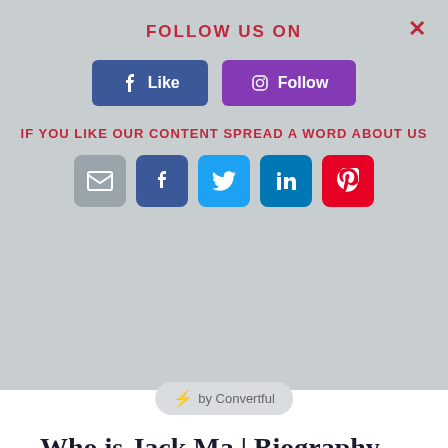FOLLOW US ON
[Figure (screenshot): Social media follow buttons: Facebook Like button (blue) and Instagram Follow button (purple)]
IF YOU LIKE OUR CONTENT SPREAD A WORD ABOUT US
[Figure (infographic): Social share icons: email (grey), Facebook (blue), Twitter (light blue), LinkedIn (dark blue), Pinterest (red)]
⚡ by Convertful
Who is Jack Ma | Biography , Quotes,Facts, & Net worth